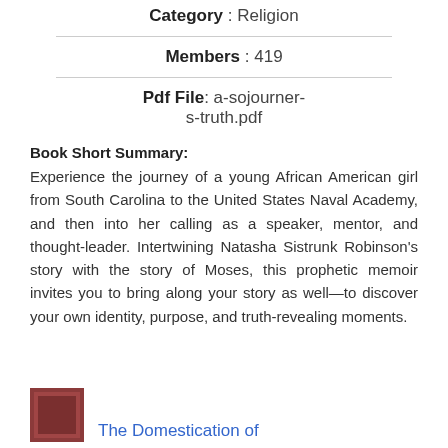Category : Religion
Members : 419
Pdf File: a-sojourner-s-truth.pdf
Book Short Summary:
Experience the journey of a young African American girl from South Carolina to the United States Naval Academy, and then into her calling as a speaker, mentor, and thought-leader. Intertwining Natasha Sistrunk Robinson's story with the story of Moses, this prophetic memoir invites you to bring along your story as well—to discover your own identity, purpose, and truth-revealing moments.
The Domestication of